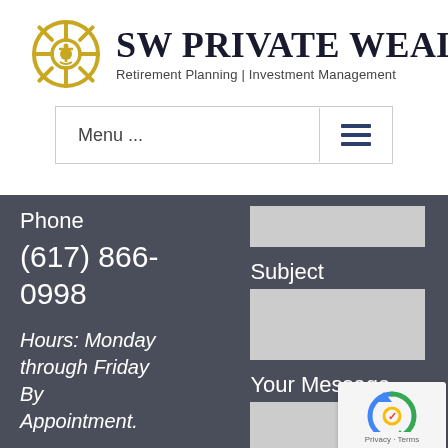[Figure (logo): SW Private Wealth ship wheel logo with anchor, gold/yellow color]
SW Private Wealth
Retirement Planning | Investment Management
Menu ...
Phone
(617) 866-0998
Hours: Monday through Friday By Appointment.
Some of our
Subject
Your Message